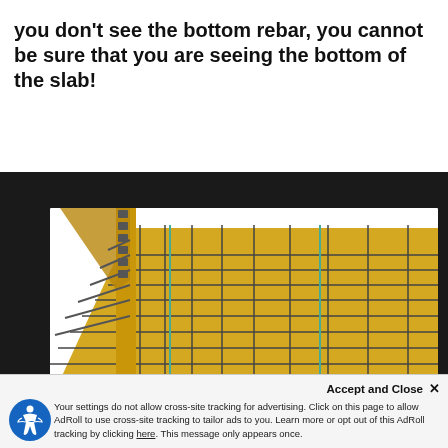you don't see the bottom rebar, you cannot be sure that you are seeing the bottom of the slab!
[Figure (engineering-diagram): 3D CAD rendering of a concrete slab reinforcement (rebar) grid layout viewed from above at an angle, showing a yellow formwork surface with a dark steel rebar mesh grid on top. The left side shows a vertical edge form with rebar extending outward. Green vertical lines are visible through the rebar grid. The background behind the slab is black.]
Accept and Close ✕ Your settings do not allow cross-site tracking for advertising. Click on this page to allow AdRoll to use cross-site tracking to tailor ads to you. Learn more or opt out of this AdRoll tracking by clicking here. This message only appears once.